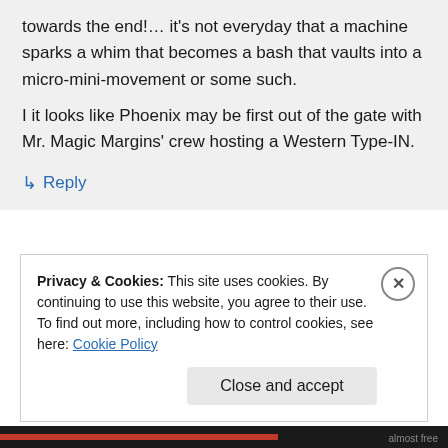towards the end!… it's not everyday that a machine sparks a whim that becomes a bash that vaults into a micro-mini-movement or some such. I it looks like Phoenix may be first out of the gate with Mr. Magic Margins' crew hosting a Western Type-IN.
↳ Reply
Privacy & Cookies: This site uses cookies. By continuing to use this website, you agree to their use. To find out more, including how to control cookies, see here: Cookie Policy
Close and accept